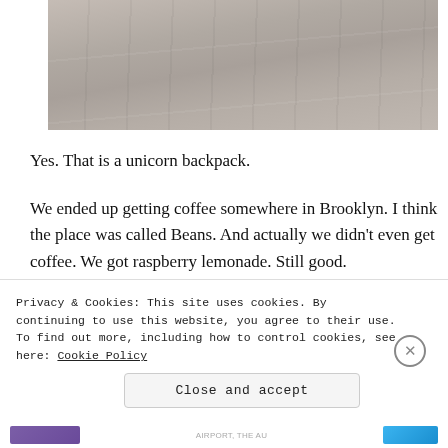[Figure (photo): A close-up photo of wooden boards or a wooden surface with a grayish-brown tone, showing grain and plank lines.]
Yes. That is a unicorn backpack.
We ended up getting coffee somewhere in Brooklyn. I think the place was called Beans. And actually we didn't even get coffee. We got raspberry lemonade. Still good.
Privacy & Cookies: This site uses cookies. By continuing to use this website, you agree to their use.
To find out more, including how to control cookies, see here: Cookie Policy
Close and accept